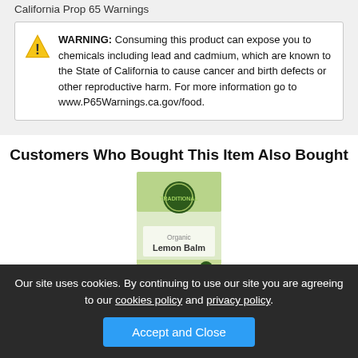California Prop 65 Warnings
WARNING: Consuming this product can expose you to chemicals including lead and cadmium, which are known to the State of California to cause cancer and birth defects or other reproductive harm. For more information go to www.P65Warnings.ca.gov/food.
Customers Who Bought This Item Also Bought
[Figure (photo): Product image of Traditional Medicinals Organic Lemon Balm tea box, green packaging with a circular logo.]
Traditional Medicinals
Our site uses cookies. By continuing to use our site you are agreeing to our cookies policy and privacy policy. Accept and Close